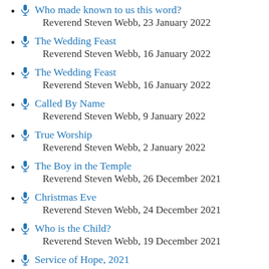Who made known to us this word?
Reverend Steven Webb, 23 January 2022
The Wedding Feast
Reverend Steven Webb, 16 January 2022
The Wedding Feast
Reverend Steven Webb, 16 January 2022
Called By Name
Reverend Steven Webb, 9 January 2022
True Worship
Reverend Steven Webb, 2 January 2022
The Boy in the Temple
Reverend Steven Webb, 26 December 2021
Christmas Eve
Reverend Steven Webb, 24 December 2021
Who is the Child?
Reverend Steven Webb, 19 December 2021
Service of Hope, 2021